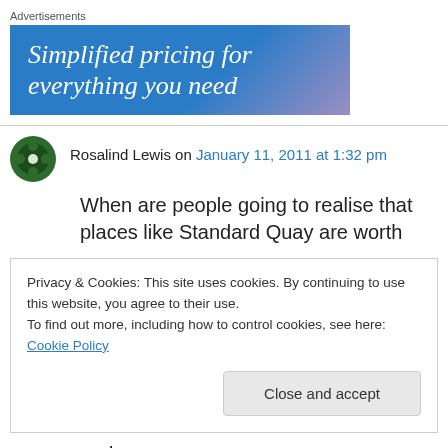Advertisements
[Figure (illustration): Advertisement banner: 'Simplified pricing for everything you need' on a blue-purple gradient background]
Rosalind Lewis on January 11, 2011 at 1:32 pm
When are people going to realise that places like Standard Quay are worth
Privacy & Cookies: This site uses cookies. By continuing to use this website, you agree to their use.
To find out more, including how to control cookies, see here: Cookie Policy
Close and accept
and